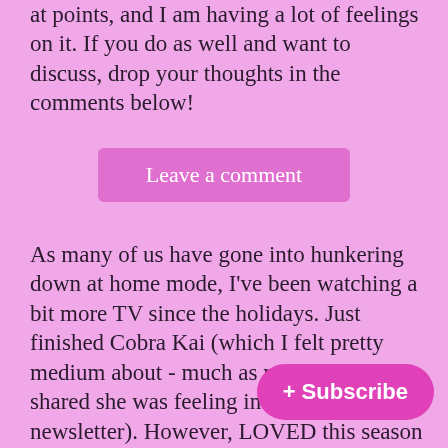at points, and I am having a lot of feelings on it. If you do as well and want to discuss, drop your thoughts in the comments below!
Leave a comment
As many of us have gone into hunkering down at home mode, I've been watching a bit more TV since the holidays. Just finished Cobra Kai (which I felt pretty medium about - much as my bestie Bryce shared she was feeling in her own newsletter). However, LOVED this season of Emily in Paris and also very int... College Girls. Currently also watching both Dexter and And Just Like That.... (and have pretty complicated feelings on both).
+ Subscribe